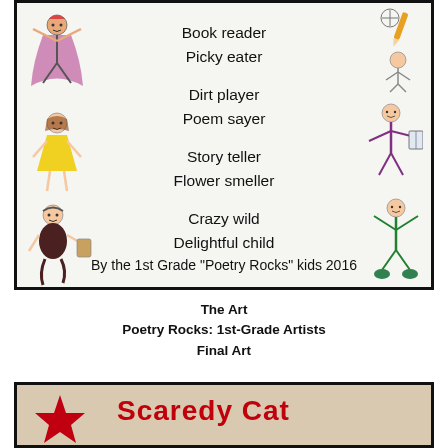[Figure (illustration): Children's illustrated poem on paper with stick figure drawings on left and right sides. Poem text reads: Book reader / Picky eater / Dirt player / Poem sayer / Story teller / Flower smeller / Crazy wild / Delightful child. Attribution: By the 1st Grade "Poetry Rocks" kids 2016]
The Art
Poetry Rocks: 1st-Grade Artists
Final Art
[Figure (photo): Bottom of page showing top of a child's artwork with red star and text 'Scaredy Cat' written in red crayon/marker on tan/beige paper background]